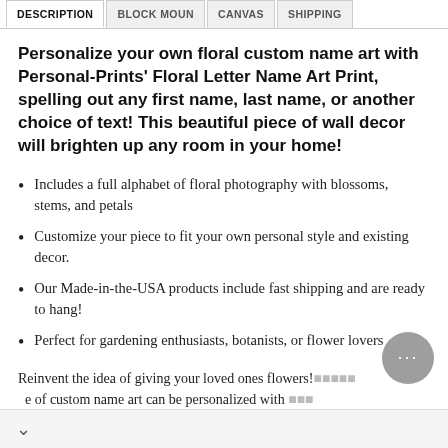DESCRIPTION | BLOCK MOUN | CANVAS | SHIPPING
Personalize your own floral custom name art with Personal-Prints' Floral Letter Name Art Print, spelling out any first name, last name, or another choice of text! This beautiful piece of wall decor will brighten up any room in your home!
Includes a full alphabet of floral photography with blossoms, stems, and petals
Customize your piece to fit your own personal style and existing decor.
Our Made-in-the-USA products include fast shipping and are ready to hang!
Perfect for gardening enthusiasts, botanists, or flower lovers
Reinvent the idea of giving your loved ones flowers! …e of custom name art can be personalized with … …en characters. Individual letter sizes will vary depending …